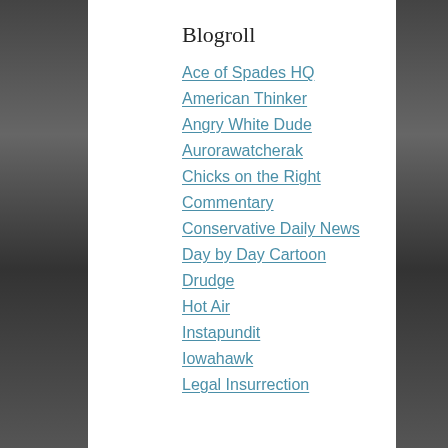Blogroll
Ace of Spades HQ
American Thinker
Angry White Dude
Aurorawatcherak
Chicks on the Right
Commentary
Conservative Daily News
Day by Day Cartoon
Drudge
Hot Air
Instapundit
Iowahawk
Legal Insurrection